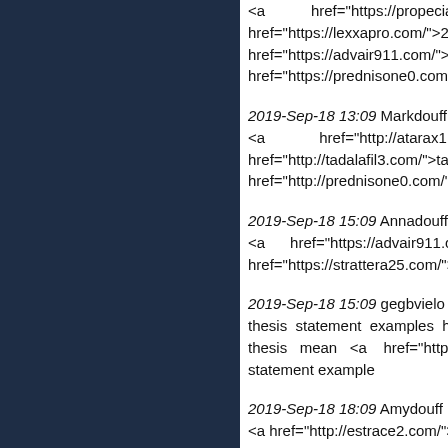<a href="https://propecia3.com/... href="https://lexxapro.com/">20 href="https://advair911.com/">advair href="https://prednisone0.com/">pre
2019-Sep-18 13:09 Markdouff из [he <a href="http://atarax1.com/ href="http://tadalafil3.com/">tadalafil href="http://prednisone0.com/">pred
2019-Sep-18 15:09 Annadouff из [ca <a href="https://advair911.com/"> href="https://strattera25.com/">stratt
2019-Sep-18 15:09 gegbvielo из [sh thesis statement examples http://w thesis mean <a href="http://wri statement example
2019-Sep-18 18:09 Amydouff из [ha <a href="http://estrace2.com/">estra
2019-Sep-18 19:09 Carldouff из [dw <a href="http://atenolol1.com/"> href="http://cipro750.com/">cipro</a